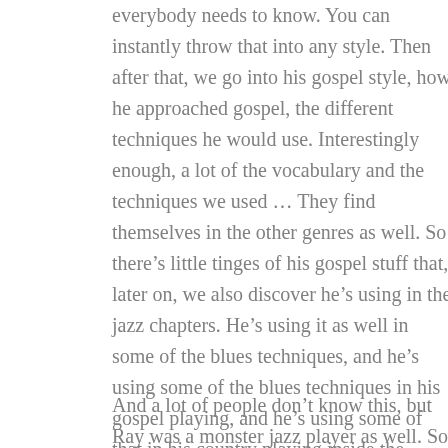everybody needs to know. You can instantly throw that into any style. Then after that, we go into his gospel style, how he approached gospel, the different techniques he would use. Interestingly enough, a lot of the vocabulary and the techniques we used … They find themselves in the other genres as well. So there's little tinges of his gospel stuff that, later on, we also discover he's using in the jazz chapters. He's using it as well in some of the blues techniques, and he's using some of the blues techniques in his gospel playing, and he's using some of that in his country playing inside the country chapters.
And a lot of people don't know this, but Ray was a monster jazz player as well. So we have a